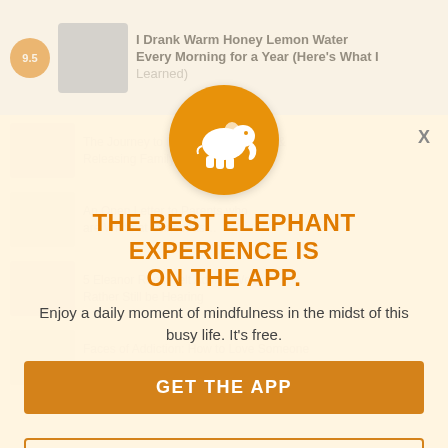[Figure (screenshot): Background of a website/app showing article thumbnails and headlines, partially obscured by modal overlay]
[Figure (logo): Elephant Journal app logo: white elephant silhouette on orange circle]
THE BEST ELEPHANT EXPERIENCE IS ON THE APP.
Enjoy a daily moment of mindfulness in the midst of this busy life. It's free.
GET THE APP
OPEN IN APP